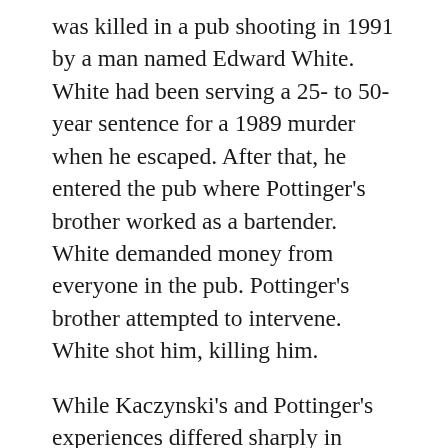was killed in a pub shooting in 1991 by a man named Edward White. White had been serving a 25- to 50-year sentence for a 1989 murder when he escaped. After that, he entered the pub where Pottinger's brother worked as a bartender. White demanded money from everyone in the pub. Pottinger's brother attempted to intervene. White shot him, killing him.
While Kaczynski's and Pottinger's experiences differed sharply in many ways, they resembled each other in one: each man was tempted to seek revenge for the psychological anguish he was experiencing—Kaczynski against the prosecutor who wanted the death penalty for his